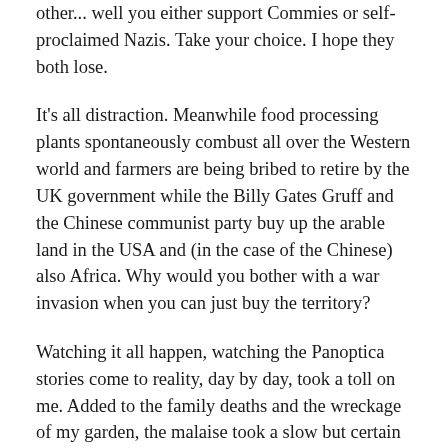other... well you either support Commies or self-proclaimed Nazis. Take your choice. I hope they both lose.
It's all distraction. Meanwhile food processing plants spontaneously combust all over the Western world and farmers are being bribed to retire by the UK government while the Billy Gates Gruff and the Chinese communist party buy up the arable land in the USA and (in the case of the Chinese) also Africa. Why would you bother with a war invasion when you can just buy the territory?
Watching it all happen, watching the Panoptica stories come to reality, day by day, took a toll on me. Added to the family deaths and the wreckage of my garden, the malaise took a slow but certain hold. In lockdown I'd have been hard pressed to tell you what day it was, it progressed to the point where I didn't know, without checking, which month we were in.